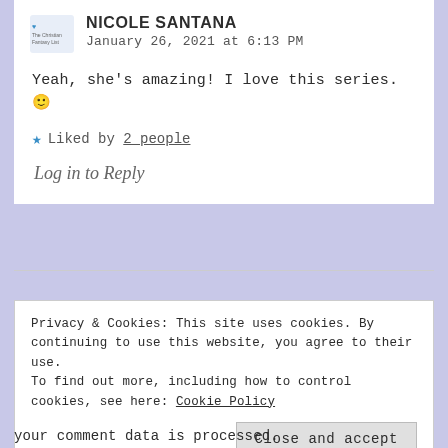NICOLE SANTANA
January 26, 2021 at 6:13 PM
Yeah, she's amazing! I love this series. 🙂
★ Liked by 2 people
Log in to Reply
Privacy & Cookies: This site uses cookies. By continuing to use this website, you agree to their use.
To find out more, including how to control cookies, see here: Cookie Policy
Close and accept
your comment data is processed.